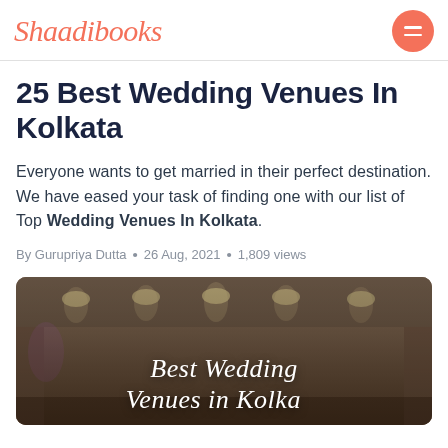Shaadibooks
25 Best Wedding Venues In Kolkata
Everyone wants to get married in their perfect destination. We have eased your task of finding one with our list of Top Wedding Venues In Kolkata.
By Gurupriya Dutta • 26 Aug, 2021 • 1,809 views
[Figure (photo): Interior photo of a decorated wedding banquet hall with warm lighting, ornate pillars, and chandelier lights on the ceiling. Overlaid script text reads 'Best Wedding Venues in Kolkata']